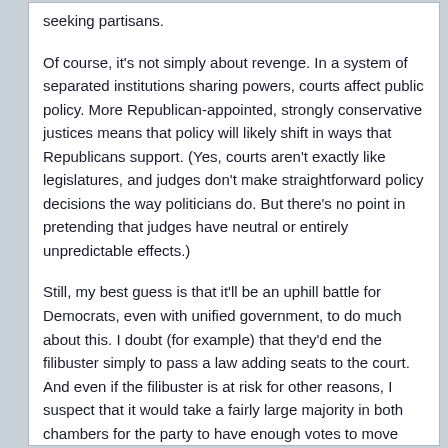seeking partisans.
Of course, it's not simply about revenge. In a system of separated institutions sharing powers, courts affect public policy. More Republican-appointed, strongly conservative justices means that policy will likely shift in ways that Republicans support. (Yes, courts aren't exactly like legislatures, and judges don't make straightforward policy decisions the way politicians do. But there's no point in pretending that judges have neutral or entirely unpredictable effects.)
Still, my best guess is that it'll be an uphill battle for Democrats, even with unified government, to do much about this. I doubt (for example) that they'd end the filibuster simply to pass a law adding seats to the court. And even if the filibuster is at risk for other reasons, I suspect that it would take a fairly large majority in both chambers for the party to have enough votes to move ahead.
That raises the second issue. It's quite possible that the new Supreme Court will be so radical that Democrats may come to think it's an obstacle to governing at all. If the court eliminates the Affordable Care Act, or a future climate law, or basic voting rights? If it destroys the ability of the executive branch to function as it's done since (at least) the New Deal? Then even moderate Democrats may think they have no choice but to